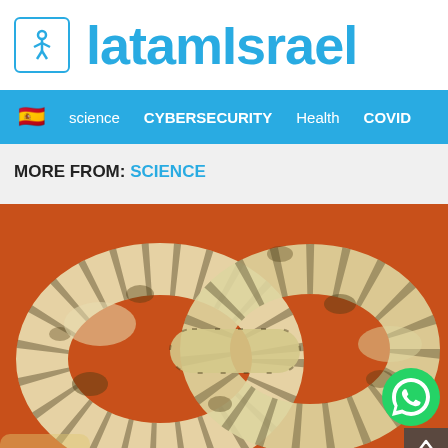latamIsrael
science | CYBERSECURITY | Health | COVID
MORE FROM: SCIENCE
[Figure (photo): Close-up photograph of a white and brown patterned chain or snake coiled against an orange background, with a WhatsApp button overlay in the bottom right corner.]